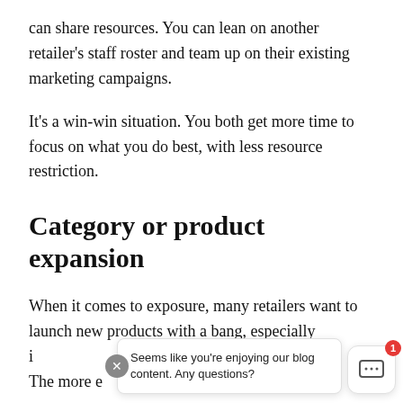can share resources. You can lean on another retailer's staff roster and team up on their existing marketing campaigns.
It's a win-win situation. You both get more time to focus on what you do best, with less resource restriction.
Category or product expansion
When it comes to exposure, many retailers want to launch new products with a bang, especially i[…] o[…] The more e[…] …et
[Figure (screenshot): Chat widget popup overlay with close button (X), message 'Seems like you're enjoying our blog content. Any questions?' and a chat icon button with red notification badge showing 1.]